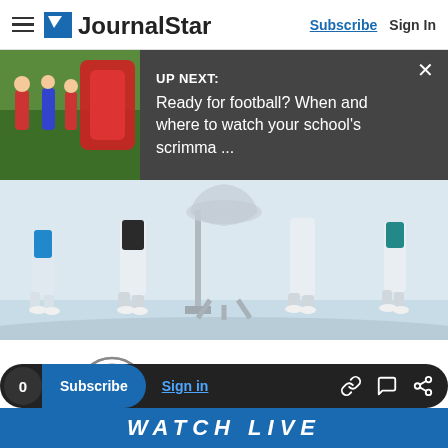JournalStar | Subscribe | Sign In
[Figure (screenshot): UP NEXT: Ready for football? When and where to watch your school's scrimma ... notification banner overlay with thumbnail image of football players]
[Figure (photo): Golf players' legs and feet near a large trophy on a light background - BMW Championship promotional image]
[Figure (logo): BMW Championship logo with BMW roundel and text BMW CHAMPIONSHIP]
0  Subscribe  Sign in
WATCH LIVE